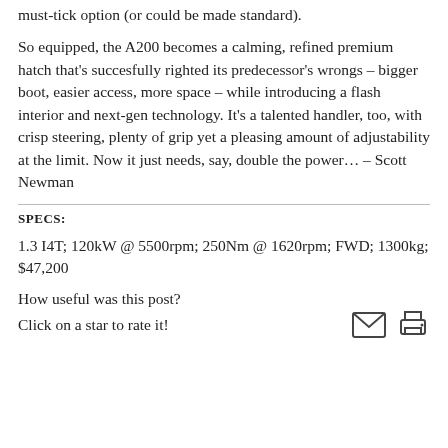must-tick option (or could be made standard).
So equipped, the A200 becomes a calming, refined premium hatch that's succesfully righted its predecessor's wrongs – bigger boot, easier access, more space – while introducing a flash interior and next-gen technology. It's a talented handler, too, with crisp steering, plenty of grip yet a pleasing amount of adjustability at the limit. Now it just needs, say, double the power… – Scott Newman
SPECS:
1.3 I4T; 120kW @ 5500rpm; 250Nm @ 1620rpm; FWD; 1300kg; $47,200
How useful was this post?
Click on a star to rate it!